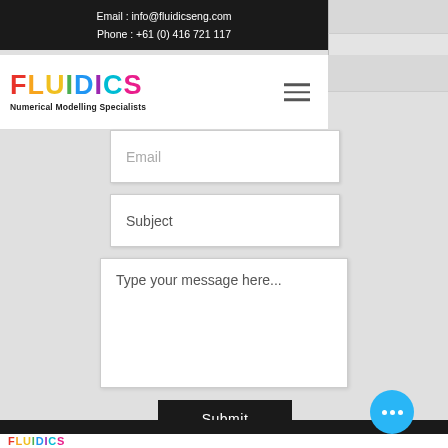Email : info@fluidicseng.com
Phone : +61 (0) 416 721 117
[Figure (logo): FLUIDICS Numerical Modelling Specialists logo with rainbow-colored letters and hamburger menu icon]
Email
Subject
Type your message here...
Submit
[Figure (logo): FLUIDICS Numerical Modelling Specialists footer logo with rainbow-colored letters on white background]
[Figure (other): Floating circular action button with three dots (context menu)]